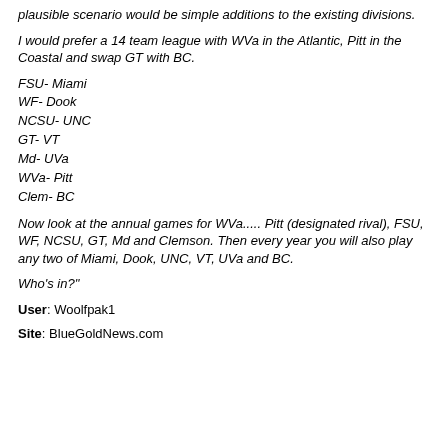plausible scenario would be simple additions to the existing divisions.
I would prefer a 14 team league with WVa in the Atlantic, Pitt in the Coastal and swap GT with BC.
FSU- Miami
WF- Dook
NCSU- UNC
GT- VT
Md- UVa
WVa- Pitt
Clem- BC
Now look at the annual games for WVa..... Pitt (designated rival), FSU, WF, NCSU, GT, Md and Clemson. Then every year you will also play any two of Miami, Dook, UNC, VT, UVa and BC.
Who's in?"
User: Woolfpak1
Site: BlueGoldNews.com